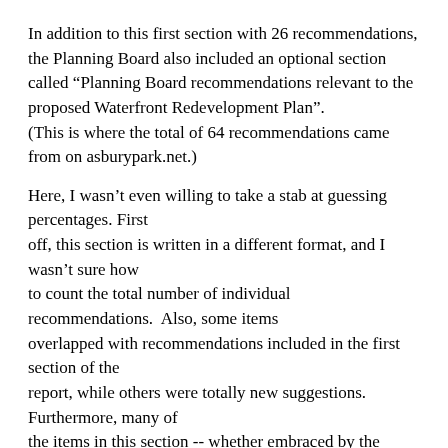In addition to this first section with 26 recommendations, the Planning Board also included an optional section called “Planning Board recommendations relevant to the proposed Waterfront Redevelopment Plan”. (This is where the total of 64 recommendations came from on asburypark.net.)
Here, I wasn’t even willing to take a stab at guessing percentages. First off, this section is written in a different format, and I wasn’t sure how to count the total number of individual recommendations.  Also, some items overlapped with recommendations included in the first section of the report, while others were totally new suggestions.  Furthermore, many of the items in this section -- whether embraced by the council or not -- were outside the scope of the redevelopment plan in our opinion, and we therefore did not include them in the ordinance.
At this point, I do not attempt to side the question in debate to...